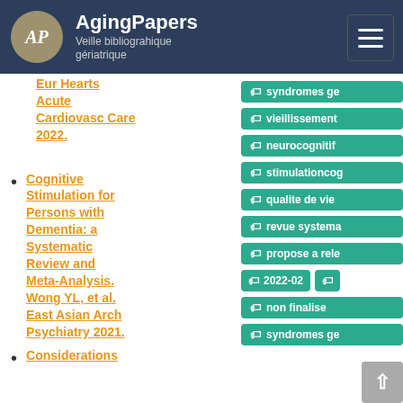AgingPapers — Veille bibliographique gériatrique
Eur Hearts Acute Cardiovasc Care 2022. (truncated at top)
Cognitive Stimulation for Persons with Dementia: a Systematic Review and Meta-Analysis. Wong YL, et al. East Asian Arch Psychiatry 2021.
Considerations (truncated at bottom)
Tags: syndromes ge, vieillissement, neurocognitif, stimulationcog, qualite de vie, revue systema, propose a rele, 2022-02, non finalise, syndromes ge